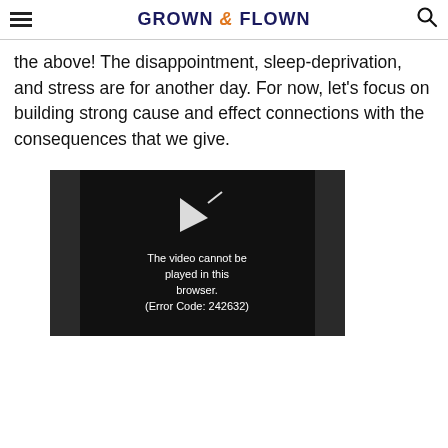GROWN & FLOWN
the above! The disappointment, sleep-deprivation, and stress are for another day. For now, let’s focus on building strong cause and effect connections with the consequences that we give.
[Figure (screenshot): Video player showing error message: The video cannot be played in this browser. (Error Code: 242632)]